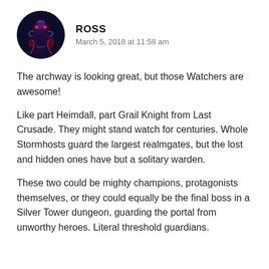[Figure (photo): Circular avatar image of a fantasy/sci-fi character with blue and red lighting, appears to be a warrior or alien figure.]
ROSS
March 5, 2018 at 11:58 am
The archway is looking great, but those Watchers are awesome!
Like part Heimdall, part Grail Knight from Last Crusade. They might stand watch for centuries. Whole Stormhosts guard the largest realmgates, but the lost and hidden ones have but a solitary warden.
These two could be mighty champions, protagonists themselves, or they could equally be the final boss in a Silver Tower dungeon, guarding the portal from unworthy heroes. Literal threshold guardians.